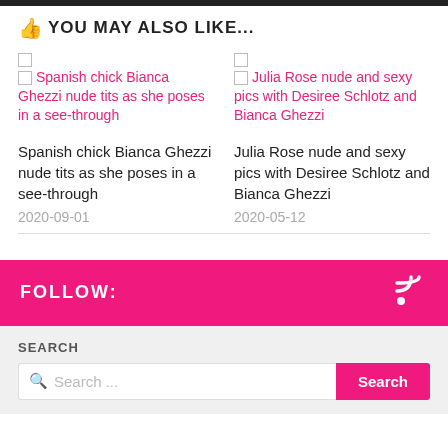YOU MAY ALSO LIKE...
[Figure (other): Broken image placeholder for Spanish chick Bianca Ghezzi nude tits as she poses in a see-through]
Spanish chick Bianca Ghezzi nude tits as she poses in a see-through
2020-09-01
[Figure (other): Broken image placeholder for Julia Rose nude and sexy pics with Desiree Schlotz and Bianca Ghezzi]
Julia Rose nude and sexy pics with Desiree Schlotz and Bianca Ghezzi
2020-05-12
FOLLOW:
SEARCH